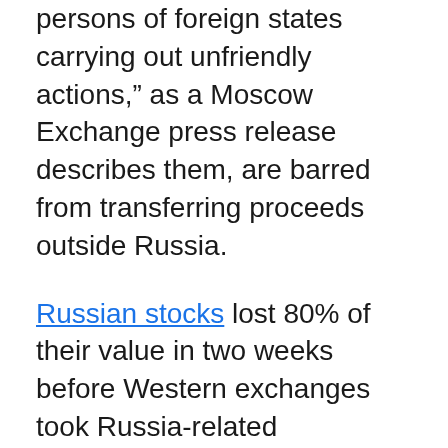persons of foreign states carrying out unfriendly actions," as a Moscow Exchange press release describes them, are barred from transferring proceeds outside Russia.
Russian stocks lost 80% of their value in two weeks before Western exchanges took Russia-related exchange-traded funds offline in early March. The Moscow Exchange shut down on Feb. 25, the day after Vladimir Putin’s invasion of Ukraine.
A longer-term Russian strategy to salvage its market seems to be taking place behind the headlines. The government may cobble together a “national team” to buy equities, though it’s not ready yet. The Kremlin announced March 1 that the National